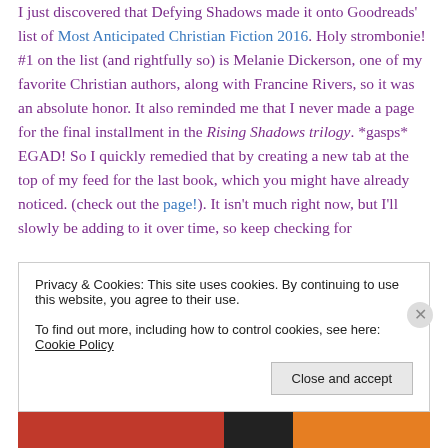I just discovered that Defying Shadows made it onto Goodreads' list of Most Anticipated Christian Fiction 2016. Holy strombonie! #1 on the list (and rightfully so) is Melanie Dickerson, one of my favorite Christian authors, along with Francine Rivers, so it was an absolute honor. It also reminded me that I never made a page for the final installment in the Rising Shadows trilogy. *gasps* EGAD! So I quickly remedied that by creating a new tab at the top of my feed for the last book, which you might have already noticed. (check out the page!). It isn't much right now, but I'll slowly be adding to it over time, so keep checking for
Privacy & Cookies: This site uses cookies. By continuing to use this website, you agree to their use. To find out more, including how to control cookies, see here: Cookie Policy
Close and accept